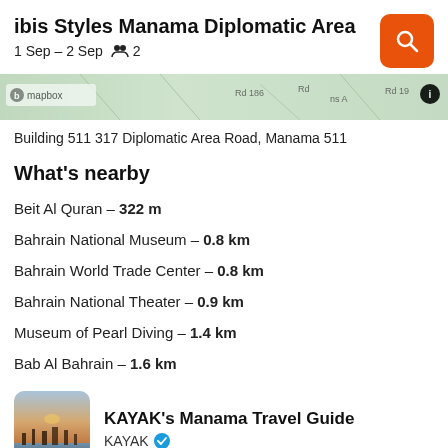ibis Styles Manama Diplomatic Area
1 Sep – 2 Sep   2
[Figure (screenshot): Map strip showing street map with Mapbox label and road labels Rd 186, Rd, ns A, Rd 19]
Building 511 317 Diplomatic Area Road, Manama 511
What's nearby
Beit Al Quran – 322 m
Bahrain National Museum – 0.8 km
Bahrain World Trade Center – 0.8 km
Bahrain National Theater – 0.9 km
Museum of Pearl Diving – 1.4 km
Bab Al Bahrain – 1.6 km
[Figure (photo): Thumbnail photo of Manama cityscape at dusk/dawn with water in foreground]
KAYAK's Manama Travel Guide
KAYAK ✓